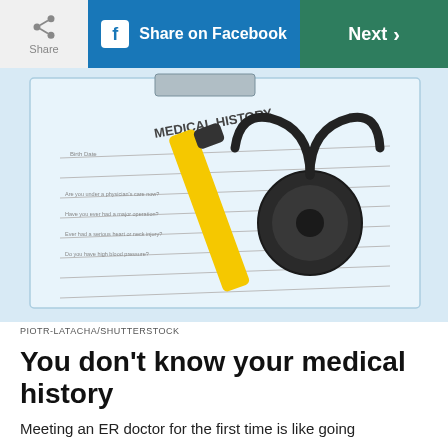Share | Share on Facebook | Next
[Figure (photo): Medical history form on clipboard with a stethoscope and yellow pen placed on top of it]
PIOTR-LATACHA/SHUTTERSTOCK
You don’t know your medical history
Meeting an ER doctor for the first time is like going